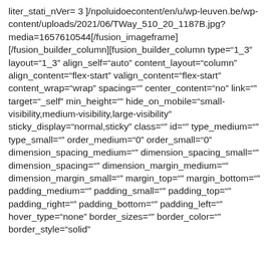liter_stati_nVer= 3 ]/npoluidoecontent/en/u/wp-leuven.be/wp-content/uploads/2021/06/TWay_510_20_1187B.jpg?media=1657610544[/fusion_imageframe] [/fusion_builder_column][fusion_builder_column type="1_3" layout="1_3" align_self="auto" content_layout="column" align_content="flex-start" valign_content="flex-start" content_wrap="wrap" spacing="" center_content="no" link="" target="_self" min_height="" hide_on_mobile="small-visibility,medium-visibility,large-visibility" sticky_display="normal,sticky" class="" id="" type_medium="" type_small="" order_medium="0" order_small="0" dimension_spacing_medium="" dimension_spacing_small="" dimension_spacing="" dimension_margin_medium="" dimension_margin_small="" margin_top="" margin_bottom="" padding_medium="" padding_small="" padding_top="" padding_right="" padding_bottom="" padding_left="" hover_type="none" border_sizes="" border_color="" border_style="solid" border_radius="" box_shadow="no"